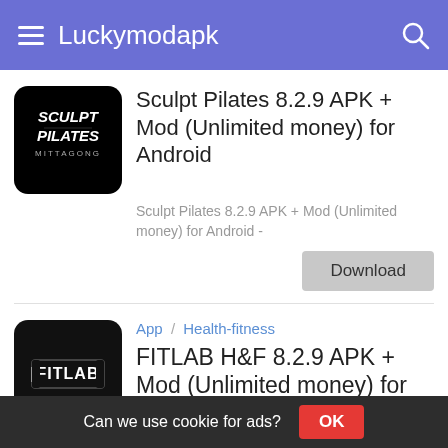Luckymodapk
[Figure (screenshot): Sculpt Pilates app icon - black background with white stylized text 'SCULPT PILATES MITTAGONG']
Sculpt Pilates 8.2.9 APK + Mod (Unlimited money) for Android
Sculpt Pilates 8.2.9 APK + Mod (Unlimited money) for Android -
Download
App / Health-fitness
[Figure (screenshot): FITLAB app icon - dark background with bracket-style FITLAB logo text]
FITLAB H&F 8.2.9 APK + Mod (Unlimited money) for Android
Can we use cookie for ads?  OK